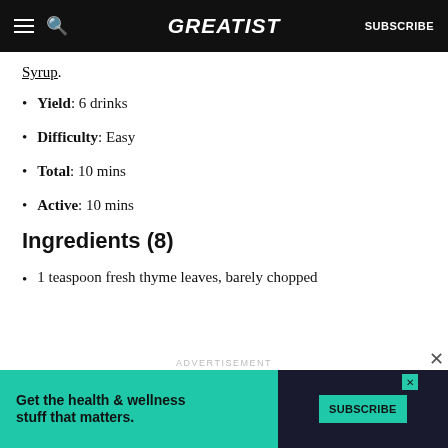GREATIST | SUBSCRIBE
Syrup.
Yield: 6 drinks
Difficulty: Easy
Total: 10 mins
Active: 10 mins
Ingredients (8)
1 teaspoon fresh thyme leaves, barely chopped
ADVERTISEMENT
[Figure (other): Advertisement banner: Get the health & wellness stuff that matters. Subscribe button.]